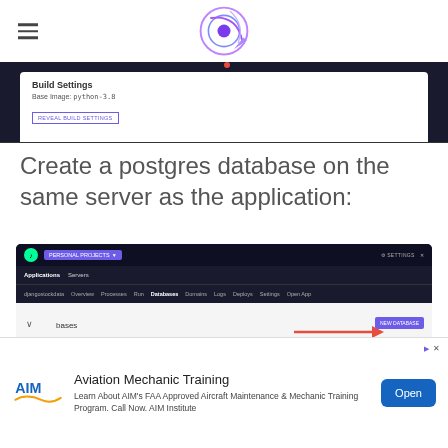Navigation header with hamburger menu and site logo
[Figure (screenshot): Build Settings panel showing 'Base Image: python-3.8' with a 'Reveal Build Settings' button, on a dark background]
Create a postgres database on the same server as the application:
[Figure (screenshot): Dark-themed web application dashboard showing Personal Projects, Applications/Servers nav, with tabs: djangostockdata, Overview, Processes, Run, Databases (active/bold), Domains, Logs, Deploys, Settings, Open App. Content area shows 'bases' text with a red arrow pointing to a 'New Database' button.]
[Figure (infographic): Advertisement for Aviation Mechanic Training from AIM Institute with AIM logo, Open button]